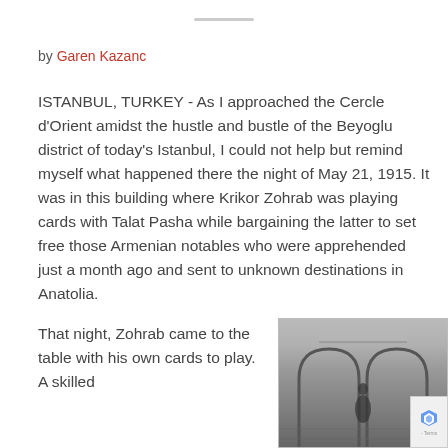by Garen Kazanc
ISTANBUL, TURKEY - As I approached the Cercle d'Orient amidst the hustle and bustle of the Beyoglu district of today's Istanbul, I could not help but remind myself what happened there the night of May 21, 1915. It was in this building where Krikor Zohrab was playing cards with Talat Pasha while bargaining the latter to set free those Armenian notables who were apprehended just a month ago and sent to unknown destinations in Anatolia.
That night, Zohrab came to the table with his own cards to play. A skilled
[Figure (photo): Black and white historical photograph showing the interior of a building with arched corridors or hallways, likely the Cercle d'Orient in Istanbul.]